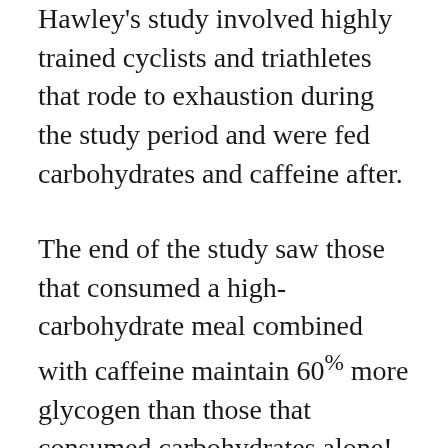Hawley's study involved highly trained cyclists and triathletes that rode to exhaustion during the study period and were fed carbohydrates and caffeine after.
The end of the study saw those that consumed a high-carbohydrate meal combined with caffeine maintain 60% more glycogen than those that consumed carbohydrates alone!